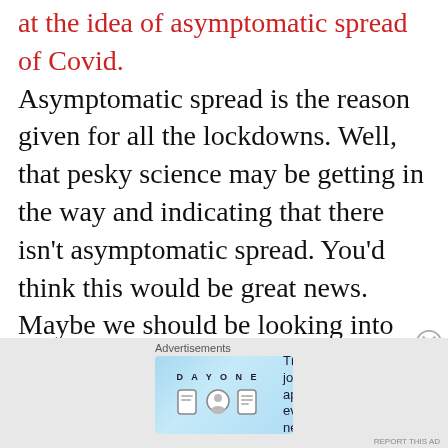at the idea of asymptomatic spread of Covid. Asymptomatic spread is the reason given for all the lockdowns. Well, that pesky science may be getting in the way and indicating that there isn't asymptomatic spread. You'd think this would be great news. Maybe we should be looking into this further? We can end the lockdowns and try to rebuild our economy! Crickets. Science is supposed to be the ultimate contrarian intellectual activity. The very definition of science is that your peers should be trying to break your argument. It's not until we've exhausted the
[Figure (other): Advertisement banner for Day One journaling app with text 'The only journaling app you'll ever need.' and icons]